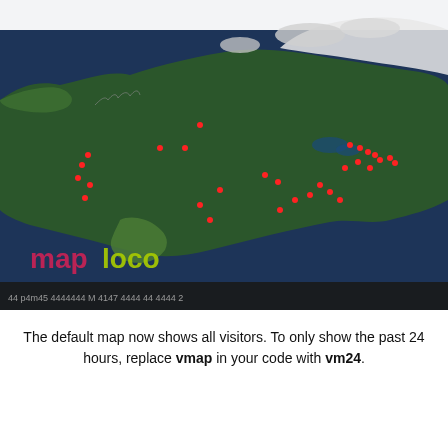[Figure (map): Satellite view map of North America with red dot markers indicating visitor locations, predominantly along the US coasts and eastern region. Features 'maploco' watermark logo in bottom-left of map area.]
The default map now shows all visitors. To only show the past 24 hours, replace vmap in your code with vm24.